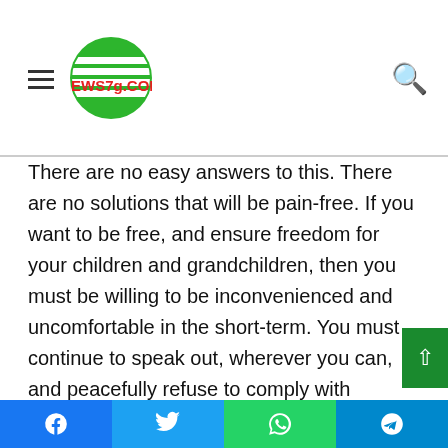world NEWS7g.COM
There are no easy answers to this. There are no solutions that will be pain-free. If you want to be free, and ensure freedom for your children and grandchildren, then you must be willing to be inconvenienced and uncomfortable in the short-term. You must continue to speak out, wherever you can, and peacefully refuse to comply with freedom-robbing unconstitutional edicts.
You need to realize that freedom is not free. It's not given willingly by those who want to lord over the many. Again and again, throughout history, people have had to fight in various ways to get it, and fight again to keep it when it was
Facebook | Twitter | WhatsApp | Telegram